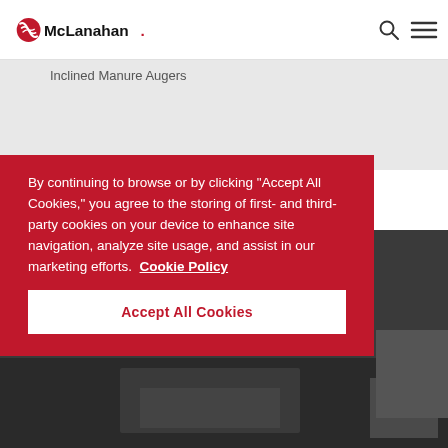McLanahan
Inclined Manure Augers
By continuing to browse or by clicking "Accept All Cookies," you agree to the storing of first- and third-party cookies on your device to enhance site navigation, analyze site usage, and assist in our marketing efforts. Cookie Policy
Accept All Cookies
[Figure (photo): Dark background image of industrial equipment, partially visible at bottom right of page.]